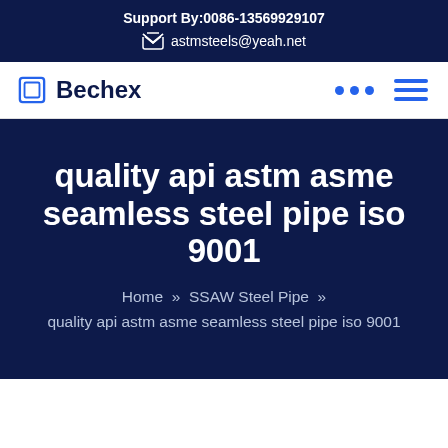Support By:0086-13569929107
astmsteels@yeah.net
Bechex
quality api astm asme seamless steel pipe iso 9001
Home » SSAW Steel Pipe »
quality api astm asme seamless steel pipe iso 9001